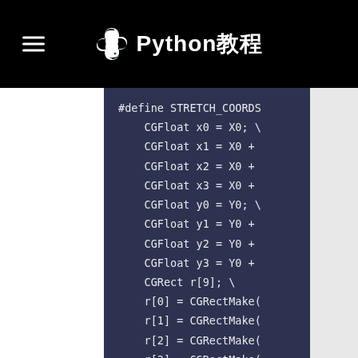Python教程
#define STRETCH_COORDS\
    CGFloat x0 = X0; \
    CGFloat x1 = X0 +
    CGFloat x2 = X0 +
    CGFloat x3 = X0 +
    CGFloat y0 = Y0; \
    CGFloat y1 = Y0 +
    CGFloat y2 = Y0 +
    CGFloat y3 = Y0 +
    CGRect r[9]; \
    r[0] = CGRectMake(
    r[1] = CGRectMake(
    r[2] = CGRectMake(
    r[3] = CGRectMake(
    r[4] = CGRectMake(
    r[5] = CGRectMake(